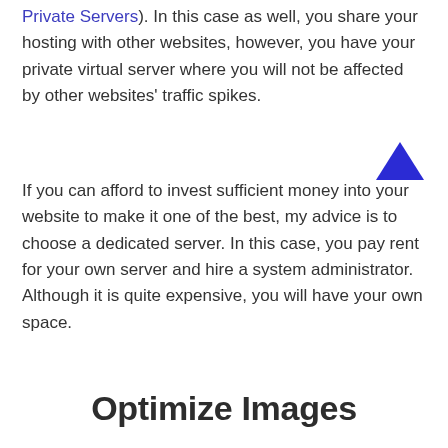Private Servers). In this case as well, you share your hosting with other websites, however, you have your private virtual server where you will not be affected by other websites' traffic spikes.
If you can afford to invest sufficient money into your website to make it one of the best, my advice is to choose a dedicated server. In this case, you pay rent for your own server and hire a system administrator. Although it is quite expensive, you will have your own space.
Optimize Images